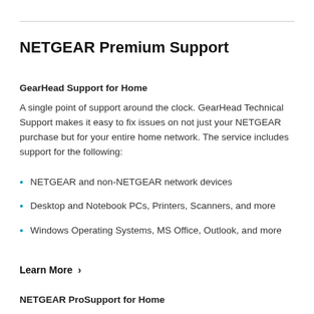NETGEAR Premium Support
GearHead Support for Home
A single point of support around the clock. GearHead Technical Support makes it easy to fix issues on not just your NETGEAR purchase but for your entire home network. The service includes support for the following:
NETGEAR and non-NETGEAR network devices
Desktop and Notebook PCs, Printers, Scanners, and more
Windows Operating Systems, MS Office, Outlook, and more
Learn More ›
NETGEAR ProSupport for Home